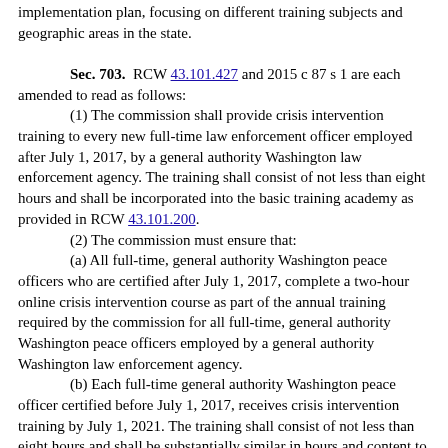implementation plan, focusing on different training subjects and geographic areas in the state.
Sec. 703. RCW 43.101.427 and 2015 c 87 s 1 are each amended to read as follows:
(1) The commission shall provide crisis intervention training to every new full-time law enforcement officer employed after July 1, 2017, by a general authority Washington law enforcement agency. The training shall consist of not less than eight hours and shall be incorporated into the basic training academy as provided in RCW 43.101.200.
(2) The commission must ensure that:
(a) All full-time, general authority Washington peace officers who are certified after July 1, 2017, complete a two-hour online crisis intervention course as part of the annual training required by the commission for all full-time, general authority Washington peace officers employed by a general authority Washington law enforcement agency.
(b) Each full-time general authority Washington peace officer certified before July 1, 2017, receives crisis intervention training by July 1, 2021. The training shall consist of not less than eight hours and shall be substantially similar in hours and content to the training offered through the basic training academy. Each attendee of the program shall be required to obtain written proof of completion of the course as provided by each of the commission in